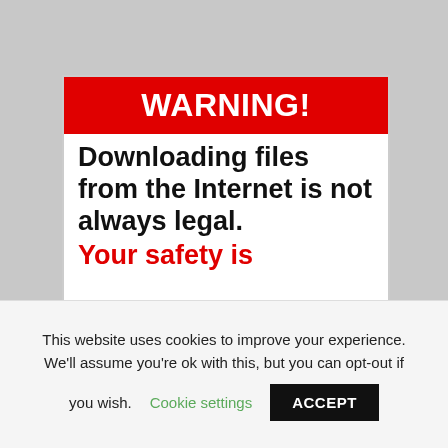WARNING!
Downloading files from the Internet is not always legal.
Your safety is
This website uses cookies to improve your experience. We'll assume you're ok with this, but you can opt-out if you wish.
Cookie settings
ACCEPT